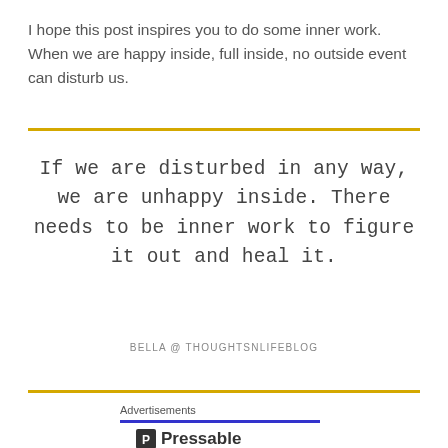I hope this post inspires you to do some inner work. When we are happy inside, full inside, no outside event can disturb us.
If we are disturbed in any way, we are unhappy inside. There needs to be inner work to figure it out and heal it.
BELLA @ THOUGHTSNLIFEBLOG
Advertisements
[Figure (logo): Pressable logo with icon and text]